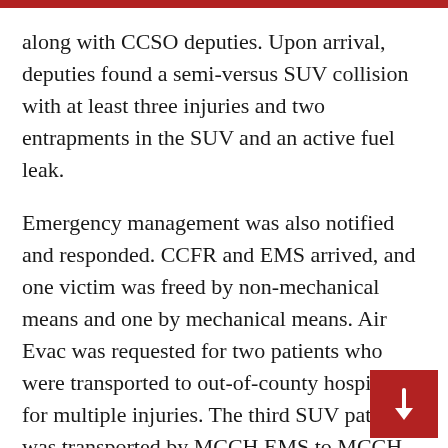along with CCSO deputies. Upon arrival, deputies found a semi-versus SUV collision with at least three injuries and two entrapments in the SUV and an active fuel leak.
Emergency management was also notified and responded. CCFR and EMS arrived, and one victim was freed by non-mechanical means and one by mechanical means. Air Evac was requested for two patients who were transported to out-of-county hospitals for multiple injuries. The third SUV patient was transported by MCCH EMS to MCCH with multiple injuries. The tractor-trailer driver was transported by POV to MCCH for possible injuries.
The investigation revealed that the tractor-tra...